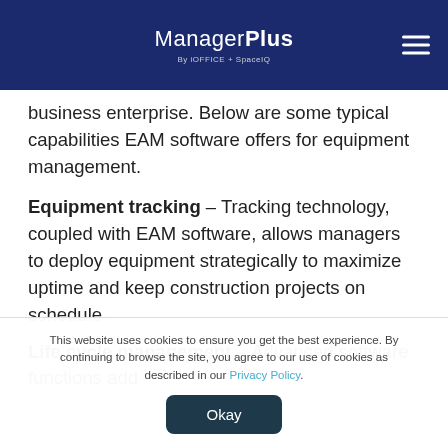ManagerPlus By iOFFICE + SpaceIQ
business enterprise. Below are some typical capabilities EAM software offers for equipment management.
Equipment tracking – Tracking technology, coupled with EAM software, allows managers to deploy equipment strategically to maximize uptime and keep construction projects on schedule.
Life cycle management – Advanced software functions add
This website uses cookies to ensure you get the best experience. By continuing to browse the site, you agree to our use of cookies as described in our Privacy Policy.